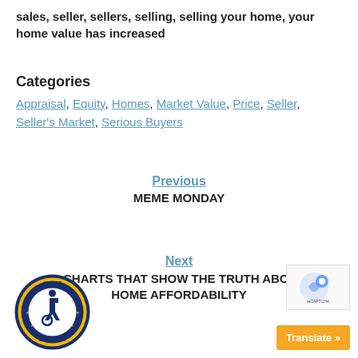sales, seller, sellers, selling, selling your home, your home value has increased
Categories
Appraisal, Equity, Homes, Market Value, Price, Seller, Seller's Market, Serious Buyers
Previous
MEME MONDAY
Next
2 CHARTS THAT SHOW THE TRUTH ABOUT HOME AFFORDABILITY
[Figure (logo): ADA Site Compliance circular badge with wheelchair accessibility icon]
[Figure (logo): reCAPTCHA badge]
Translate »